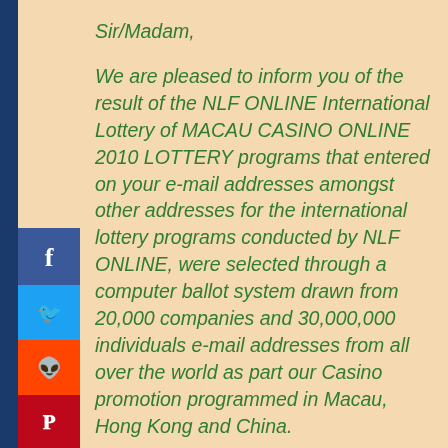Sir/Madam,
We are pleased to inform you of the result of the NLF ONLINE International Lottery of MACAU CASINO ONLINE 2010 LOTTERY programs that entered on your e-mail addresses amongst other addresses for the international lottery programs conducted by NLF ONLINE, were selected through a computer ballot system drawn from 20,000 companies and 30,000,000 individuals e-mail addresses from all over the world as part our Casino promotion programmed in Macau, Hong Kong and China.
Your E-mail address attached to the ticket number 71-226-1212 with serial number 802-57, drew lucky numbers 5, 12, 30, 17, 43, and Bonus numbers 777 , Your INSURANCE Number: ELS411/820L/GMSA, which consequently won